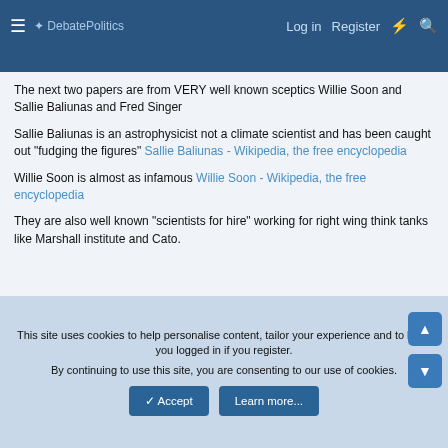DebatePolitics | Log in | Register
The next two papers are from VERY well known sceptics Willie Soon and Sallie Baliunas and Fred Singer
Sallie Baliunas is an astrophysicist not a climate scientist and has been caught out "fudging the figures" Sallie Baliunas - Wikipedia, the free encyclopedia
Willie Soon is almost as infamous Willie Soon - Wikipedia, the free encyclopedia
They are also well known "scientists for hire" working for right wing think tanks like Marshall institute and Cato.
This site uses cookies to help personalise content, tailor your experience and to keep you logged in if you register. By continuing to use this site, you are consenting to our use of cookies.